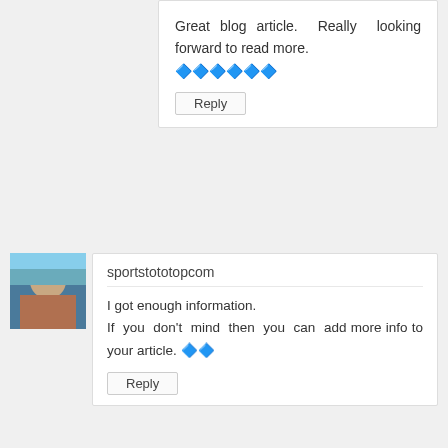Great blog article. Really looking forward to read more. 🔷🔷🔷🔷🔷🔷
Reply
[Figure (photo): Avatar photo of a person outdoors]
sportstototopcom
I got enough information.
If you don't mind then you can add more info to your article. 🔷🔷
Reply
[Figure (photo): Avatar photo of a person at a location]
roulettesitetop
Thanks for sharing a great article.
You are providing wonderful information, it is very useful to us.
Keep posting like this informative articles.
Thank you. 🔷🔷🔷🔷🔷🔷
Reply